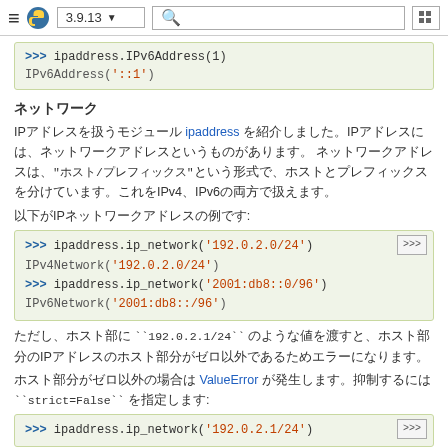≡ 🐍 3.9.13 ▼ [search] [grid]
[Figure (screenshot): Code block showing: >>> ipaddress.IPv6Address(1) and IPv6Address('::1')]
ネットワーク
IPアドレスを扱うモジュール ipaddress を紹介しました。IPアドレスには、ネットワークアドレスというものがあります。 "ホスト/プレフィックス"という形式で、ホストとプレフィックスを分けています。
以下がIPネットワークアドレスの例です:
[Figure (screenshot): Code block: >>> ipaddress.ip_network('192.0.2.0/24'), IPv4Network('192.0.2.0/24'), >>> ipaddress.ip_network('2001:db8::0/96'), IPv6Network('2001:db8::/96')]
ただし、ホスト部に ``192.0.2.1/24`` のような値を渡すと、IPアドレスのホスト部分がゼロ以外であるためエラーになります。
ホスト部分がゼロ以外の場合は ValueError が発生します。抑制するには ``strict=False`` を指定します:
[Figure (screenshot): Code block: >>> ipaddress.ip_network('192.0.2.1/24')]